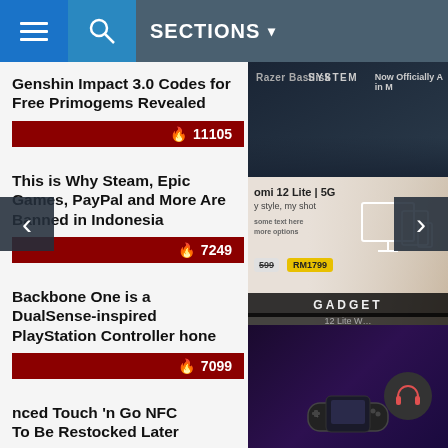≡  🔍  SECTIONS ▾
Genshin Impact 3.0 Codes for Free Primogems Revealed
🔥 11105
This is Why Steam, Epic Games, PayPal and More Are Banned in Indonesia
🔥 7249
Backbone One is a DualSense-inspired PlayStation Controller for iPhone
🔥 7099
nced Touch 'n Go NFC To Be Restocked Later y
🔥 6059
[Figure (screenshot): Dark tech image with text 'Razer Basilisk' and 'SYSTEM' and 'Now Officially A...']
[Figure (screenshot): Xiaomi 12 Lite 5G advertisement with text 'mi 12 Lite | 5G', 'y style, my shot', prices RM1599 and RM1799, device icons, GADGET label, and '12 Lite W... in Malaysia']
[Figure (screenshot): Dark purple gaming image showing handheld game controller and headphone icon]